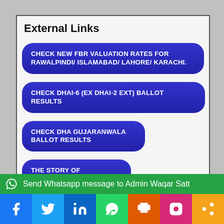External Links
CHECK NEW FBR VALUATION RATES FOR RAWALPINDI/ ISLAMABAD/ LAHORE/ KARACHI.
CHECK DHAI-6 (EX DHAI-2 EXT) BALLOT RESULTS
CHECK DHA GUJARANWALA BALLOT RESULTS
THE STORY OF ZAMEEN.COM
HOW TO OPEN OVERSEAS ROSHAN PAKISTAN BANK ACCOUNT
AN INVESTOR'S GUIDE TO THE CONSTRUCTION BOOM
DAHI RIVERFRONT CITY TO OVERCOME LAHORE'S...
Send Whatsapp message to Admin Waqar Satt
Facebook | Twitter | LinkedIn | WhatsApp | Print | Instagram | Share